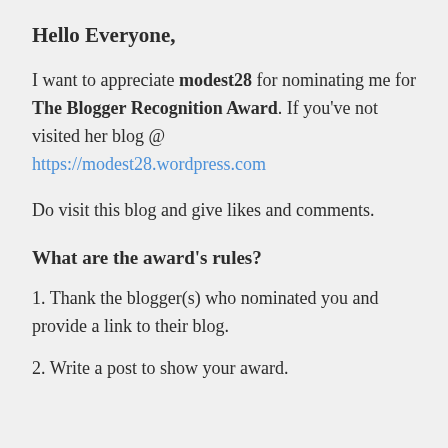Hello Everyone,
I want to appreciate modest28 for nominating me for The Blogger Recognition Award. If you've not visited her blog @ https://modest28.wordpress.com
Do visit this blog and give likes and comments.
What are the award's rules?
1. Thank the blogger(s) who nominated you and provide a link to their blog.
2. Write a post to show your award.